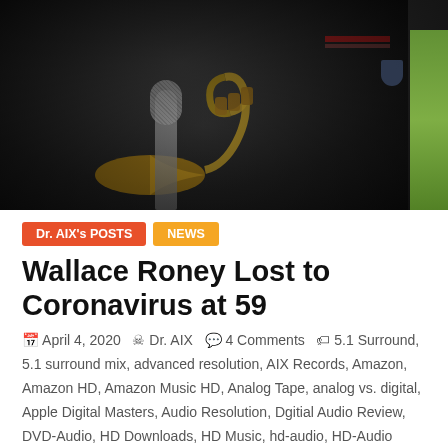[Figure (photo): Dark photograph of a musician in military-style jacket holding a trumpet, with a microphone visible in the foreground and a green element on the right side.]
Dr. AIX's POSTS
NEWS
Wallace Roney Lost to Coronavirus at 59
April 4, 2020  Dr. AIX  4 Comments  5.1 Surround, 5.1 surround mix, advanced resolution, AIX Records, Amazon, Amazon HD, Amazon Music HD, Analog Tape, analog vs. digital, Apple Digital Masters, Audio Resolution, Dgitial Audio Review, DVD-Audio, HD Downloads, HD Music, hd-audio, HD-Audio Challenge II, Hi Res Audio, Hi-Res, Hi-Res Audio Challenge, Hi-Res Music, hi-res sound, high resolution audio, high-res music, High-Resolution, High-